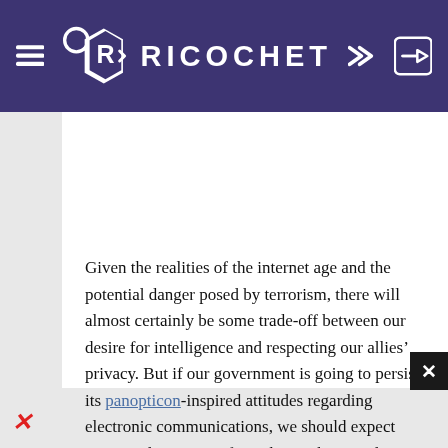RICOCHET
Given the realities of the internet age and the potential danger posed by terrorism, there will almost certainly be some trade-off between our desire for intelligence and respecting our allies’ privacy. But if our government is going to persist in its panopticon-inspired attitudes regarding electronic communications, we should expect continued resistance from those whose trade, trust, and assistance we need.